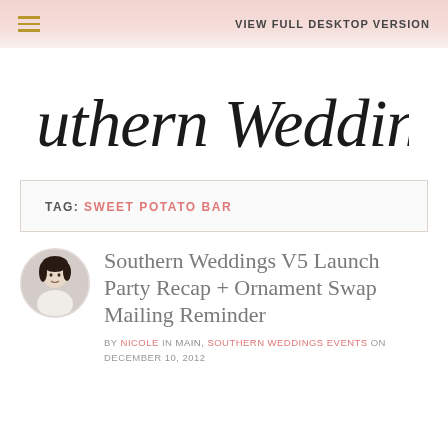VIEW FULL DESKTOP VERSION
[Figure (logo): Southern Weddings cursive script logo]
TAG: SWEET POTATO BAR
[Figure (photo): Circular avatar photo of a woman with dark hair]
Southern Weddings V5 Launch Party Recap + Ornament Swap Mailing Reminder
BY NICOLE IN MAIN, SOUTHERN WEDDINGS EVENTS ON DECEMBER 10, 2012